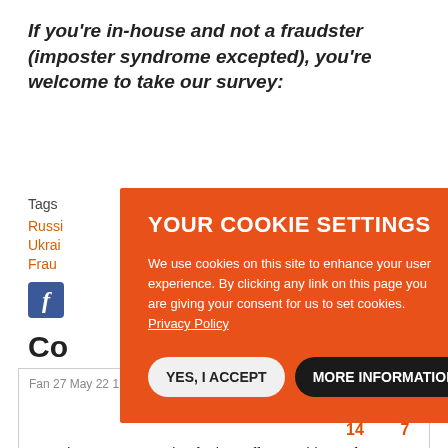If you're in-house and not a fraudster (imposter syndrome excepted), you're welcome to take our survey:
Tags
Russi...
Ukrai...
Frau...
[Figure (logo): Facebook share button (blue square with white f)]
Co...
Fan 27 May 22 11:11
14   7
Gotta love a conman who, for less effort, could earn far more money doing a legitimate job. I admire his commitment to the bit.
[Figure (screenshot): Cookie consent overlay on orange background with title 'YOUR COOKIE SETTINGS', description text about cookie usage, and two buttons: 'YES, I ACCEPT' and 'MORE INFORMATION']